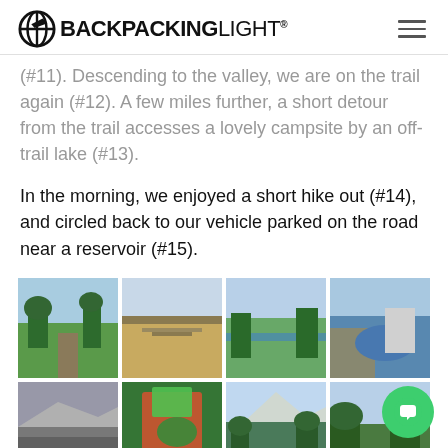BACKPACKINGLIGHT
(#11). Descending to the valley, we are on the trail again (#12). A few miles further, a short detour from the trail accesses a lovely campsite by an off-trail lake (#13).
In the morning, we enjoyed a short hike out (#14), and circled back to our vehicle parked on the road near a reservoir (#15).
[Figure (photo): Grid of 8 outdoor/backpacking photos showing trails, meadows, alpine lakes, campsites, and mountain landscapes]
[Figure (other): Green circular chat/support button in the bottom right corner]